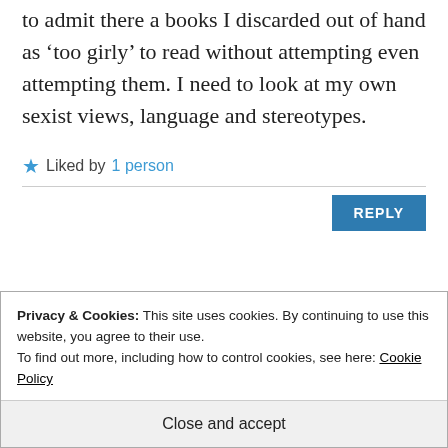to admit there a books I discarded out of hand as ‘too girly’ to read without attempting even attempting them. I need to look at my own sexist views, language and stereotypes.
★ Liked by 1 person
REPLY
The cumulative
Privacy & Cookies: This site uses cookies. By continuing to use this website, you agree to their use.
To find out more, including how to control cookies, see here: Cookie Policy
Close and accept